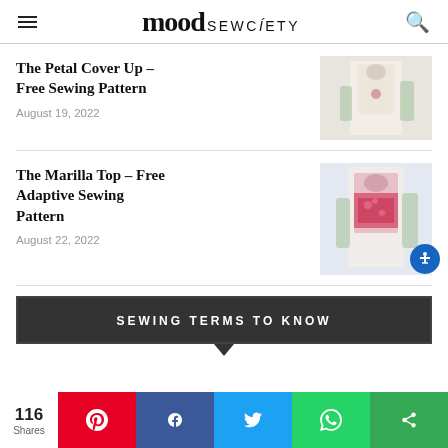mood SEWCIETY
The Petal Cover Up – Free Sewing Pattern
August 19, 2022
[Figure (photo): Photo of a white petal cover up garment on a dress form]
The Marilla Top – Free Adaptive Sewing Pattern
August 22, 2022
[Figure (photo): Photo of a pink floral Marilla top on a dress form]
SEWING TERMS TO KNOW
116 Shares